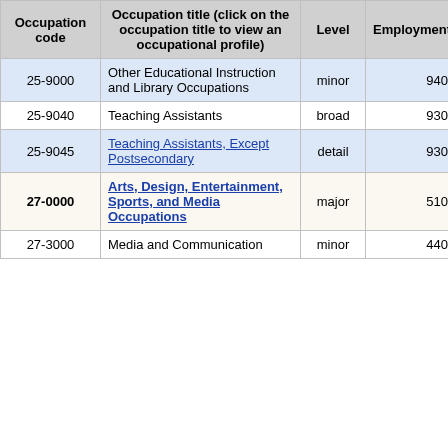| Occupation code | Occupation title (click on the occupation title to view an occupational profile) | Level | Employment | Employment RSE |
| --- | --- | --- | --- | --- |
| 25-9000 | Other Educational Instruction and Library Occupations | minor | 940 | 27.5% |
| 25-9040 | Teaching Assistants | broad | 930 | 27.6% |
| 25-9045 | Teaching Assistants, Except Postsecondary | detail | 930 | 27.6% |
| 27-0000 | Arts, Design, Entertainment, Sports, and Media Occupations | major | 510 | 20.5% |
| 27-3000 | Media and Communication | minor | 440 | 21.3% |